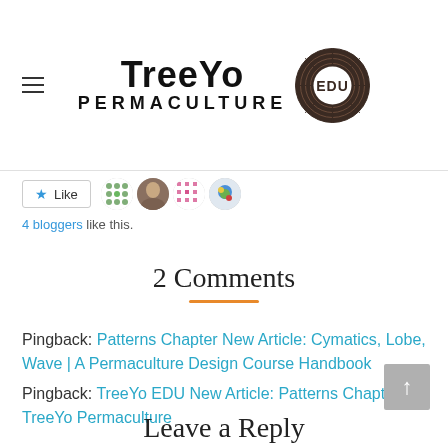[Figure (logo): TreeYo Permaculture EDU logo with hamburger menu icon on the left, the text 'TreeYo Permaculture' in the center, and a circular wood-ring EDU badge on the right]
[Figure (infographic): Like button with star icon and four blogger avatar thumbnails. Text below reads '4 bloggers like this.']
2 Comments
Pingback: Patterns Chapter New Article: Cymatics, Lobe, Wave | A Permaculture Design Course Handbook
Pingback: TreeYo EDU New Article: Patterns Chapter – TreeYo Permaculture
Leave a Reply